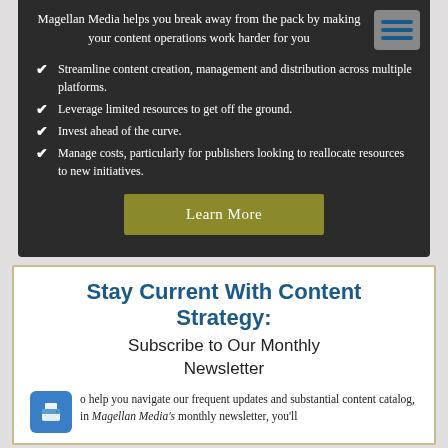Magellan Media helps you break away from the pack by making your content operations work harder for you
Streamline content creation, management and distribution across multiple platforms.
Leverage limited resources to get off the ground.
Invest ahead of the curve.
Manage costs, particularly for publishers looking to reallocate resources to new initiatives.
[Figure (other): Learn More button — olive/yellow-green rectangular button with white text]
Stay Current With Content Strategy:
Subscribe to Our Monthly Newsletter
To help you navigate our frequent updates and substantial content catalog, in Magellan Media's monthly newsletter, you'll